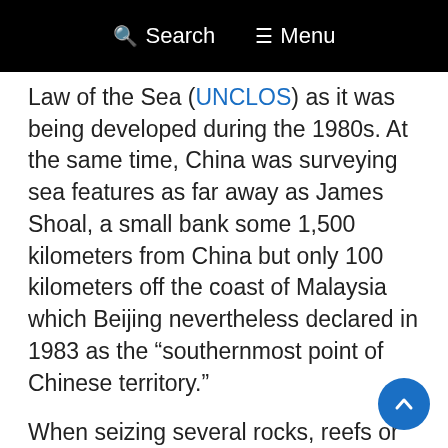Search   Menu
Law of the Sea (UNCLOS) as it was being developed during the 1980s. At the same time, China was surveying sea features as far away as James Shoal, a small bank some 1,500 kilometers from China but only 100 kilometers off the coast of Malaysia which Beijing nevertheless declared in 1983 as the “southernmost point of Chinese territory.”
When seizing several rocks, reefs or features in the South China Sea starting from the mid-1980s, the tactics of Zheng He once again became praxis. Failure to submit resulted in bullying, or worse. This was the case in a 1988 turkey shoot at Union